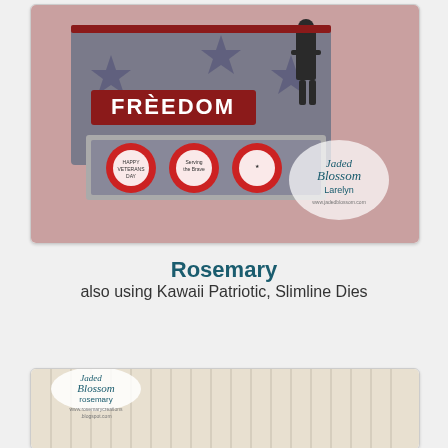[Figure (photo): Patriotic gift box with FREEDOM label, soldier silhouette, stars, and chocolate candies with 'Happy Veterans Day' labels. Jaded Blossom Larelyn branding visible.]
Rosemary
also using Kawaii Patriotic, Slimline Dies
[Figure (photo): Patriotic card with soldier silhouettes saluting against a colorful sunset sky with American flag. Jaded Blossom rosemary branding visible.]